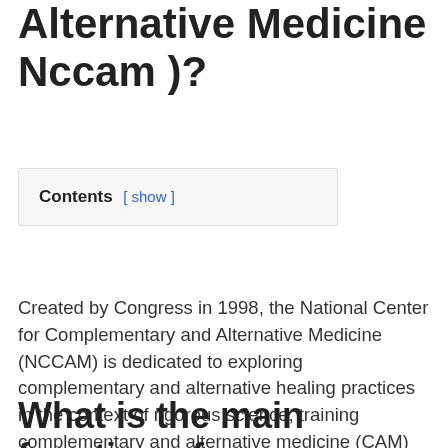Alternative Medicine Nccam )?
Contents [ show ]
Created by Congress in 1998, the National Center for Complementary and Alternative Medicine (NCCAM) is dedicated to exploring complementary and alternative healing practices in the context of rigorous science, training complementary and alternative medicine (CAM) researchers, and disseminating authoritative …
What is the main function of